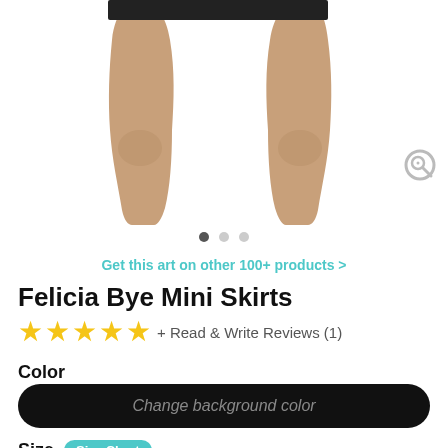[Figure (photo): Product photo showing legs wearing a mini skirt, cropped from knees up, on white background with pagination dots and magnify icon]
Get this art on other 100+ products >
Felicia Bye Mini Skirts
★★★★★ + Read & Write Reviews (1)
Color
Change background color
Size
XS  S  M  L  XL
Repeat Art